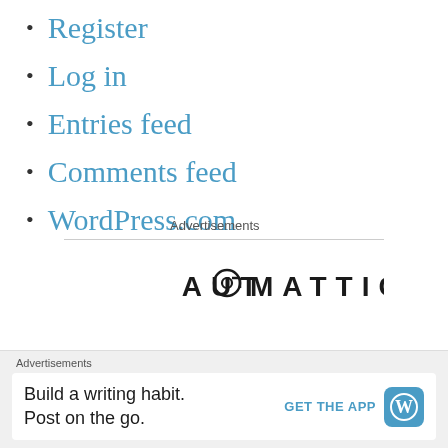Register
Log in
Entries feed
Comments feed
WordPress.com
Advertisements
[Figure (logo): Automattic logo with stylized @ symbol]
Advertisements
Build a writing habit. Post on the go. GET THE APP [WordPress icon]